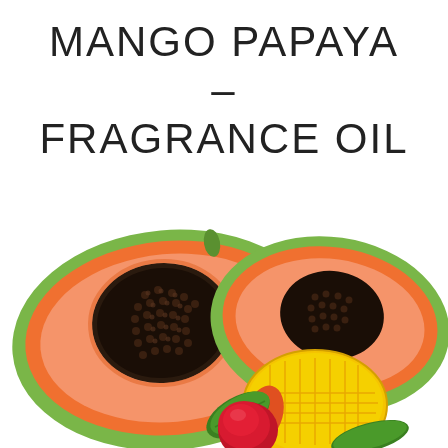MANGO PAPAYA - FRAGRANCE OIL
[Figure (photo): A photo of sliced tropical fruits on a white background: two halves of a papaya showing orange flesh and black seeds with green skin, a halved mango showing yellow diced flesh, a red whole fruit (mango or rose apple), and a green leaf.]